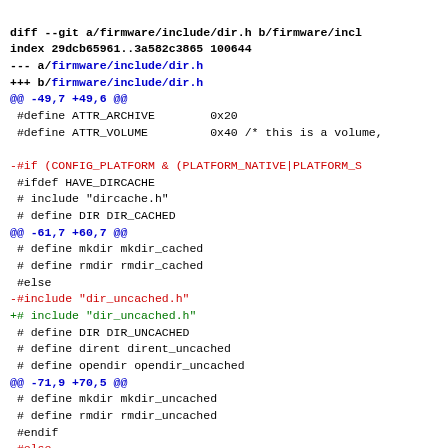diff --git a/firmware/include/dir.h b/firmware/incl
index 29dcb65961..3a582c3865 100644
--- a/firmware/include/dir.h
+++ b/firmware/include/dir.h
@@ -49,7 +49,6 @@
 #define ATTR_ARCHIVE        0x20
 #define ATTR_VOLUME         0x40 /* this is a volume,

-#if (CONFIG_PLATFORM & (PLATFORM_NATIVE|PLATFORM_S
 #ifdef HAVE_DIRCACHE
 # include "dircache.h"
 # define DIR DIR_CACHED
@@ -61,7 +60,7 @@
 # define mkdir mkdir_cached
 # define rmdir rmdir_cached
 #else
-#include "dir_uncached.h"
+# include "dir_uncached.h"
 # define DIR DIR_UNCACHED
 # define dirent dirent_uncached
 # define opendir opendir_uncached
@@ -71,9 +70,5 @@
 # define mkdir mkdir_uncached
 # define rmdir rmdir_uncached
 #endif
-#else
-#include "dir-target.h"
-#include "dir_uncached.h"
-#endif